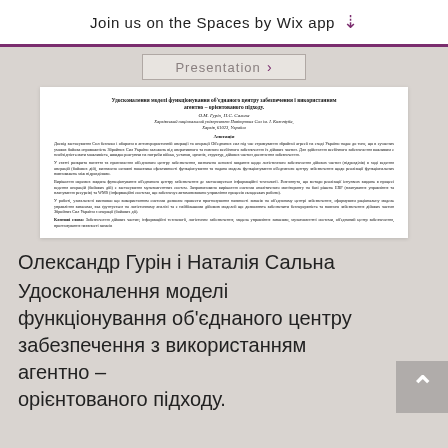Join us on the Spaces by Wix app
[Figure (screenshot): Screenshot of a Presentation button with a right-facing arrow chevron on a gray background]
[Figure (screenshot): Rendered academic paper page in Ukrainian. Title: Удосконалення моделі функціонування об'єднаного центру забезпечення і використанням агентно – орієнтованого підходу. Authors: О.М. Гурін, Н.С. Сальна. Affiliation: Харківський національний університет Повітряних Сил ім. І. Кожедуба, Харків, 61023, Україна. Contains abstract and keywords in Ukrainian.]
Олександр Гурін і Наталія Сальна
Удосконалення моделі функціонування об'єднаного центру забезпечення з використанням  агентно – орієнтованого підходу.